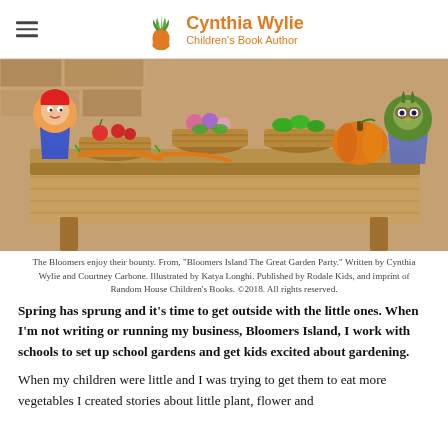Cynthia Wylie Children's Book Author
[Figure (illustration): Illustrated scene of cartoon plant and animal characters (Bloomers) around a wooden table with baskets of vegetables and fruits including a pumpkin, carrots, strawberries, and flowers.]
The Bloomers enjoy their bounty. From, "Bloomers Island The Great Garden Party." Written by Cynthia Wylie and Courtney Carbone. Illustrated by Katya Longhi. Published by Rodale Kids, and imprint of Random House Children's Books. ©2018. All rights reserved.
Spring has sprung and it's time to get outside with the little ones. When I'm not writing or running my business, Bloomers Island, I work with schools to set up school gardens and get kids excited about gardening.
When my children were little and I was trying to get them to eat more vegetables I created stories about little plant, flower and